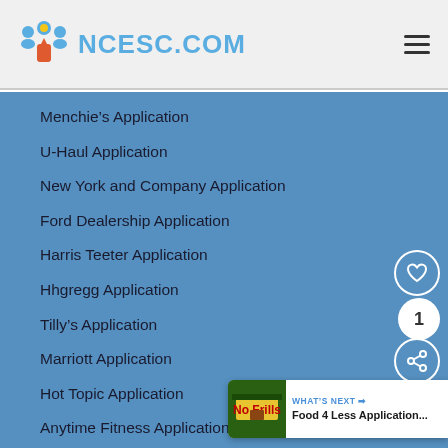NCESC.COM
Menchie's Application
U-Haul Application
New York and Company Application
Ford Dealership Application
Harris Teeter Application
Hhgregg Application
Tilly's Application
Marriott Application
Hot Topic Application
Anytime Fitness Application
Carrabba's Application